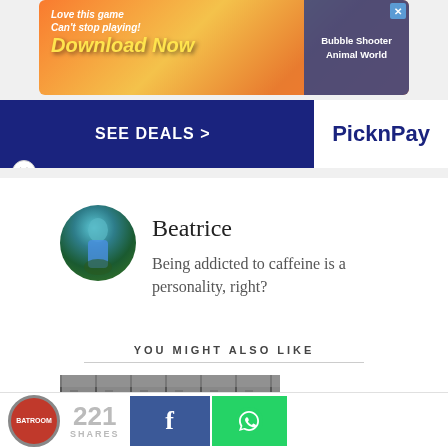[Figure (screenshot): Advertisement banner: colorful orange/yellow gradient with 'Love this game Can't stop playing! Download Now' text and Bubble Shooter Animal World game ad with close X button]
[Figure (screenshot): Second advertisement banner: dark blue background with 'SEE DEALS >' and 'Pick n Pay' logo in white]
Beatrice
Being addicted to caffeine is a personality, right?
YOU MIGHT ALSO LIKE
[Figure (photo): Partial thumbnail image of building exterior with glass/metal facade]
221 SHARES